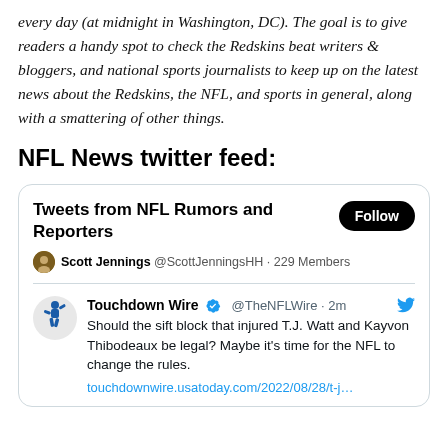every day (at midnight in Washington, DC). The goal is to give readers a handy spot to check the Redskins beat writers & bloggers, and national sports journalists to keep up on the latest news about the Redskins, the NFL, and sports in general, along with a smattering of other things.
NFL News twitter feed:
[Figure (screenshot): Twitter/X embedded widget showing 'Tweets from NFL Rumors and Reporters' list by Scott Jennings @ScottJenningsHH with 229 Members. Below is a tweet from Touchdown Wire @TheNFLWire (2m ago): 'Should the sift block that injured T.J. Watt and Kayvon Thibodeaux be legal? Maybe it's time for the NFL to change the rules.' with link touchdownwire.usatoday.com/2022/08/28/t-j...]